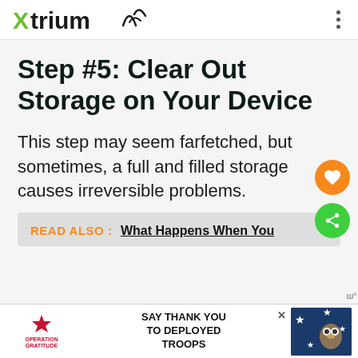Xtrium
Step #5: Clear Out Storage on Your Device
This step may seem farfetched, but sometimes, a full and filled storage causes irreversible problems.
READ ALSO : What Happens When You
[Figure (screenshot): Advertisement banner for Operation Gratitude - Say Thank You To Deployed Troops]